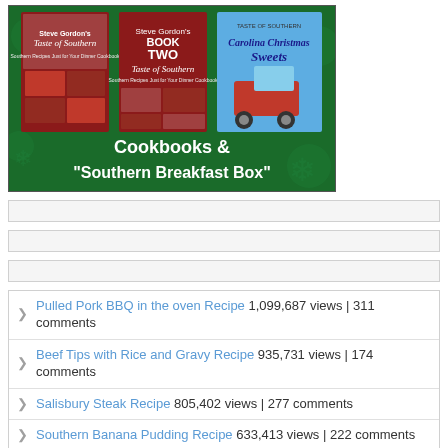[Figure (illustration): Green Christmas-themed banner showing three cookbook covers (Taste of Southern Book One, Taste of Southern Book Two, and Carolina Christmas Sweets) against a dark green background with snowflake decorations, with white bold text reading Cookbooks & "Southern Breakfast Box"]
[Figure (other): Advertisement bar (empty/placeholder)]
[Figure (other): Advertisement bar (empty/placeholder)]
[Figure (other): Advertisement bar (empty/placeholder)]
Pulled Pork BBQ in the oven Recipe 1,099,687 views | 311 comments
Beef Tips with Rice and Gravy Recipe 935,731 views | 174 comments
Salisbury Steak Recipe 805,402 views | 277 comments
Southern Banana Pudding Recipe 633,413 views | 222 comments